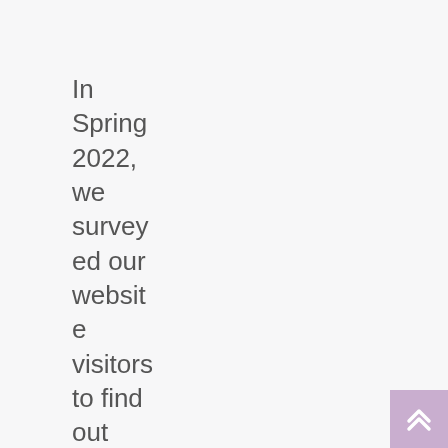In Spring 2022, we surveyed our website visitors to find out your opinion of Calderdale Forum 50 Plus, what more you want us to provide and the issues that concern you the most.